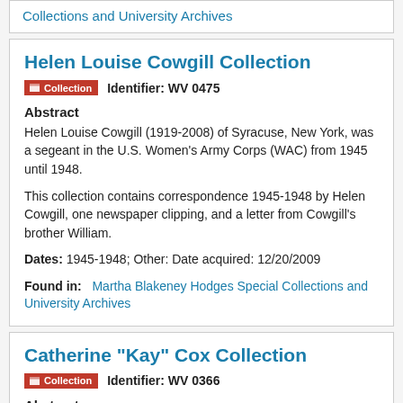Collections and University Archives
Helen Louise Cowgill Collection
Collection   Identifier: WV 0475
Abstract
Helen Louise Cowgill (1919-2008) of Syracuse, New York, was a segeant in the U.S. Women's Army Corps (WAC) from 1945 until 1948.
This collection contains correspondence 1945-1948 by Helen Cowgill, one newspaper clipping, and a letter from Cowgill's brother William.
Dates: 1945-1948; Other: Date acquired: 12/20/2009
Found in:   Martha Blakeney Hodges Special Collections and University Archives
Catherine "Kay" Cox Collection
Collection   Identifier: WV 0366
Abstract